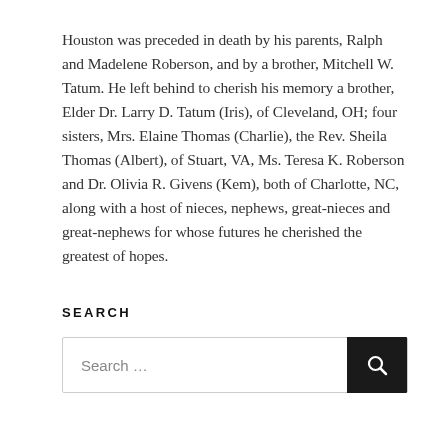Houston was preceded in death by his parents, Ralph and Madelene Roberson, and by a brother, Mitchell W. Tatum. He left behind to cherish his memory a brother, Elder Dr. Larry D. Tatum (Iris), of Cleveland, OH; four sisters, Mrs. Elaine Thomas (Charlie), the Rev. Sheila Thomas (Albert), of Stuart, VA, Ms. Teresa K. Roberson and Dr. Olivia R. Givens (Kem), both of Charlotte, NC, along with a host of nieces, nephews, great-nieces and great-nephews for whose futures he cherished the greatest of hopes.
SEARCH